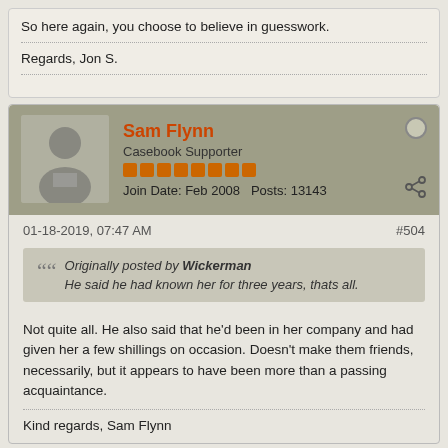So here again, you choose to believe in guesswork.
Regards, Jon S.
Sam Flynn
Casebook Supporter
Join Date: Feb 2008   Posts: 13143
01-18-2019, 07:47 AM
#504
Originally posted by Wickerman
He said he had known her for three years, thats all.
Not quite all. He also said that he'd been in her company and had given her a few shillings on occasion. Doesn't make them friends, necessarily, but it appears to have been more than a passing acquaintance.
Kind regards, Sam Flynn